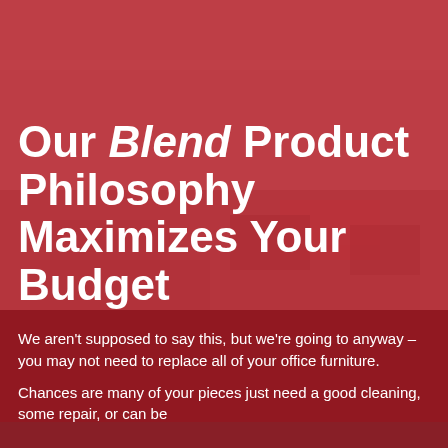[Figure (photo): Background photo of an office space with furniture, overlaid with semi-transparent red panels]
Our Blend Product Philosophy Maximizes Your Budget
We aren't supposed to say this, but we're going to anyway – you may not need to replace all of your office furniture.
Chances are many of your pieces just need a good cleaning, some repair, or can be